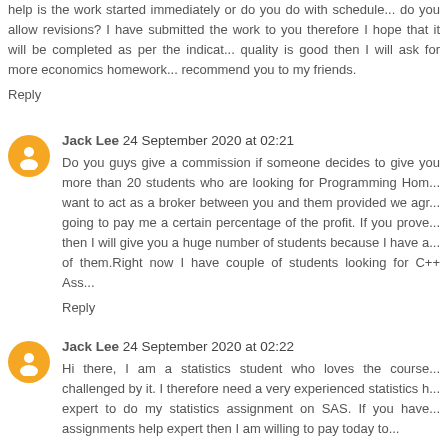help is the work started immediately or do you do with schedule... do you allow revisions? I have submitted the work to you therefore I hope that it will be completed as per the indicat... quality is good then I will ask for more economics homework... recommend you to my friends.
Reply
Jack Lee 24 September 2020 at 02:21
Do you guys give a commission if someone decides to give you more than 20 students who are looking for Programming Hom... want to act as a broker between you and them provided we agr... going to pay me a certain percentage of the profit. If you prove... then I will give you a huge number of students because I have a... of them.Right now I have couple of students looking for C++ Ass...
Reply
Jack Lee 24 September 2020 at 02:22
Hi there, I am a statistics student who loves the course... challenged by it. I therefore need a very experienced statistics h... expert to do my statistics assignment on SAS. If you have... assignments help expert then I am willing to pay today to...